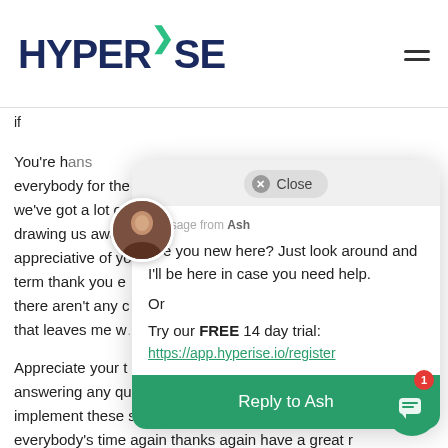HYPERISE
if
You're h ans everybody for the we've got a lot of drawing us away appreciative of yo term thank you e there aren't any c that leaves me we
[Figure (screenshot): Chat widget overlay showing 'Message from Ash' with text 'Are you new here? Just look around and I’ll be here in case you need help. Or Try our FREE 14 day trial: https://app.hyperise.io/register' and a green 'Reply to Ash' button. A Close button is at the top. A circular avatar photo is partially visible.]
Appreciate your t answering any questions in the future when you start to implement these services for your clients apprecia everybody’s time again thanks again have a great r the day bye bye.